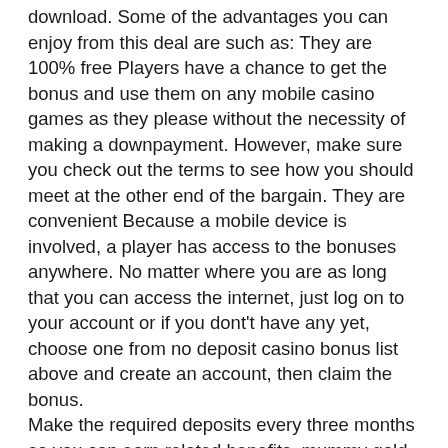download. Some of the advantages you can enjoy from this deal are such as: They are 100% free Players have a chance to get the bonus and use them on any mobile casino games as they please without the necessity of making a downpayment. However, make sure you check out the terms to see how you should meet at the other end of the bargain. They are convenient Because a mobile device is involved, a player has access to the bonuses anywhere. No matter where you are as long that you can access the internet, just log on to your account or if you dont't have any yet, choose one from no deposit casino bonus list above and create an account, then claim the bonus. Make the required deposits every three months so you can earn related benefits, mummy gold casino download. Use the code 20CB2 and get $20 FC, mummy gold casino download. Make a